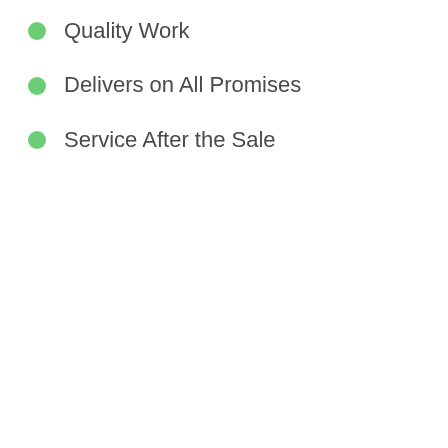Quality Work
Delivers on All Promises
Service After the Sale